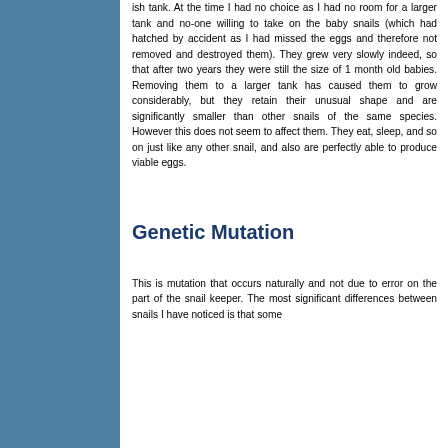ish tank. At the time I had no choice as I had no room for a larger tank and no-one willing to take on the baby snails (which had hatched by accident as I had missed the eggs and therefore not removed and destroyed them). They grew very slowly indeed, so that after two years they were still the size of 1 month old babies. Removing them to a larger tank has caused them to grow considerably, but they retain their unusual shape and are significantly smaller than other snails of the same species. However this does not seem to affect them. They eat, sleep, and so on just like any other snail, and also are perfectly able to produce viable eggs.
Genetic Mutation
This is mutation that occurs naturally and not due to error on the part of the snail keeper. The most significant differences between snails I have noticed is that some